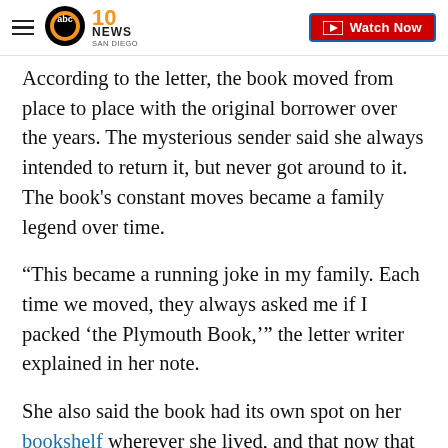ABC 10News San Diego — Watch Now
According to the letter, the book moved from place to place with the original borrower over the years. The mysterious sender said she always intended to return it, but never got around to it. The book's constant moves became a family legend over time.
“This became a running joke in my family. Each time we moved, they always asked me if I packed ‘the Plymouth Book,’” the letter writer explained in her note.
She also said the book had its own spot on her bookshelf wherever she lived, and that now that it was gone she would continue to keep a vacant spot on her shelf for it, Keller told Fox 56 WOLF, saying, “That